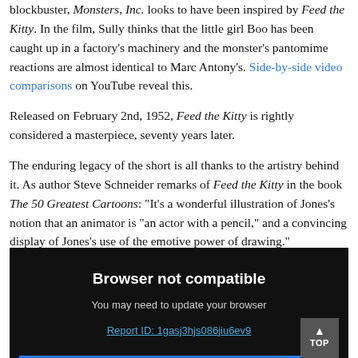blockbuster, Monsters, Inc. looks to have been inspired by Feed the Kitty. In the film, Sully thinks that the little girl Boo has been caught up in a factory's machinery and the monster's pantomime reactions are almost identical to Marc Antony's. Side-by-side video comparisons on YouTube reveal this.
Released on February 2nd, 1952, Feed the Kitty is rightly considered a masterpiece, seventy years later.
The enduring legacy of the short is all thanks to the artistry behind it. As author Steve Schneider remarks of Feed the Kitty in the book The 50 Greatest Cartoons: “It’s a wonderful illustration of Jones’s notion that an animator is “an actor with a pencil,” and a convincing display of Jones’s use of the emotive power of drawing.”
[Figure (screenshot): Browser not compatible error screen. Black background with white bold text 'Browser not compatible', grey text 'You may need to update your browser', and a blue hyperlink 'Report ID: 1gasj3hjs086jiu6ev9'. A 'TOP' navigation button is in the bottom right corner.]